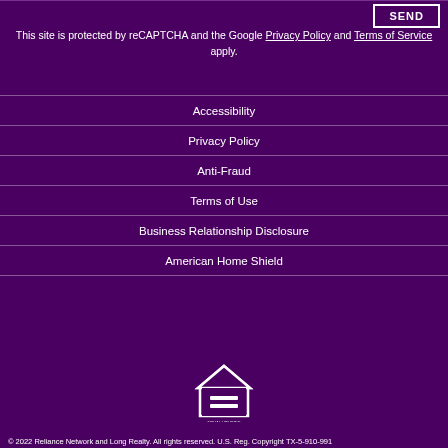SEND
This site is protected by reCAPTCHA and the Google Privacy Policy and Terms of Service apply.
Accessibility
Privacy Policy
Anti-Fraud
Terms of Use
Business Relationship Disclosure
American Home Shield
[Figure (logo): Equal Housing Opportunity logo — white house outline with an equals sign inside, text 'EQUAL HOUSING OPPORTUNITY' below]
© 2022 Reliance Network and Long Realty. All rights reserved. U.S. Reg. Copyright TX-5-910-991